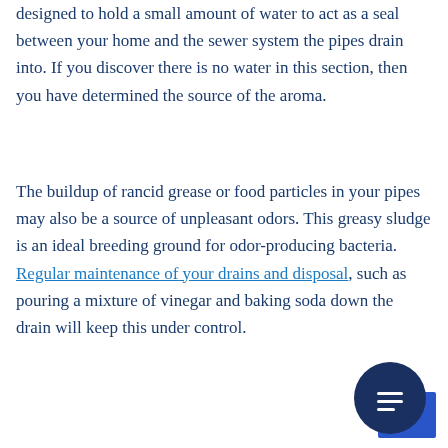designed to hold a small amount of water to act as a seal between your home and the sewer system the pipes drain into. If you discover there is no water in this section, then you have determined the source of the aroma.
The buildup of rancid grease or food particles in your pipes may also be a source of unpleasant odors. This greasy sludge is an ideal breeding ground for odor-producing bacteria. Regular maintenance of your drains and disposal, such as pouring a mixture of vinegar and baking soda down the drain will keep this under control.
[Figure (other): Chat widget button — a dark blue circle with a chat/message icon, with a blue square partially visible behind it in the bottom-right corner of the page.]